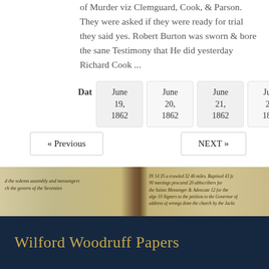of Murder viz Clemguard, Cook, & Parson. They were asked if they were ready for trial they said yes. Robert Burton was sworn & bore the sane Testimony that He did yesterday Richard Cook ...
| Dat | June 19, 1862 | June 20, 1862 | June 21, 1862 | June 22, 1862 |
| --- | --- | --- | --- | --- |
« Previous
NEXT »
[Figure (photo): Photograph of handwritten historical manuscript pages from the Wilford Woodruff Papers, showing cursive script on aged paper.]
Wilford Woodruff Papers